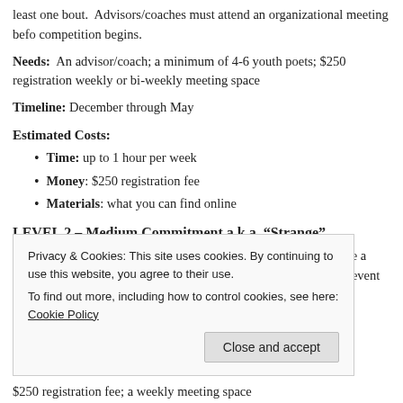least one bout. Advisors/coaches must attend an organizational meeting before competition begins.
Needs: An advisor/coach; a minimum of 4-6 youth poets; $250 registration; weekly or bi-weekly meeting space
Timeline: December through May
Estimated Costs:
Time: up to 1 hour per week
Money: $250 registration fee
Materials: what you can find online
LEVEL 2 – Medium Commitment a.k.a. “Strange”
This level approaches the Can You Hear Me Now poetry slam like a regular s debate season with the finals in May being the climatic event at the end of th
Privacy & Cookies: This site uses cookies. By continuing to use this website, you agree to their use. To find out more, including how to control cookies, see here: Cookie Policy
$250 registration fee; a weekly meeting space